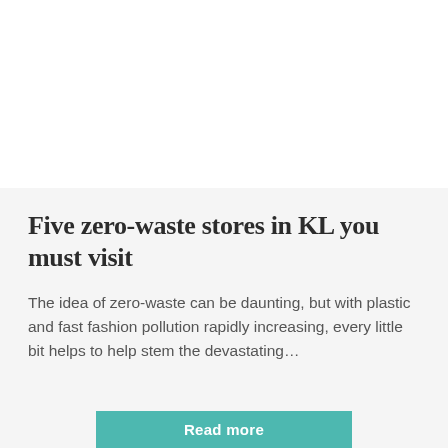Five zero-waste stores in KL you must visit
The idea of zero-waste can be daunting, but with plastic and fast fashion pollution rapidly increasing, every little bit helps to help stem the devastating…